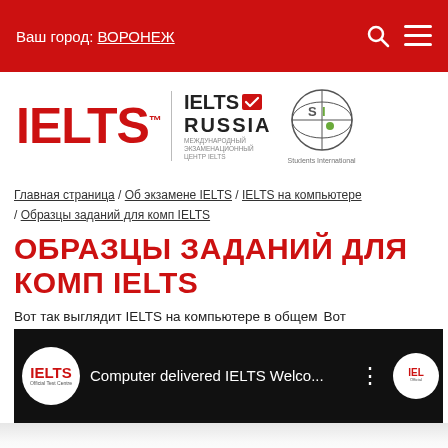Ваш город: ВОРОНЕЖ
[Figure (logo): IELTS logo, IELTS Russia logo, Students International logo]
Главная страница / Об экзамене IELTS / IELTS на компьютере / Образцы заданий для комп IELTS
ОБРАЗЦЫ ЗАДАНИЙ ДЛЯ КОМП IELTS
Вот так выглядит IELTS на компьютере в общем
[Figure (screenshot): Video thumbnail: Computer delivered IELTS Welcome screen on a dark background with IELTS logo circle]